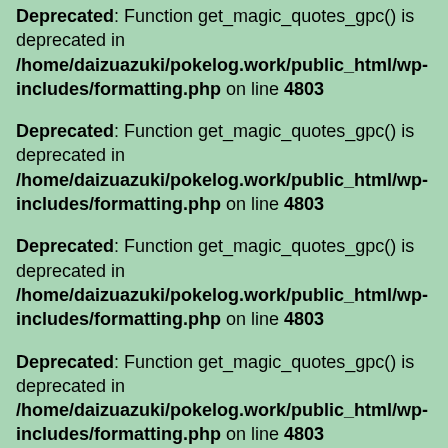Deprecated: Function get_magic_quotes_gpc() is deprecated in /home/daizuazuki/pokelog.work/public_html/wp-includes/formatting.php on line 4803
Deprecated: Function get_magic_quotes_gpc() is deprecated in /home/daizuazuki/pokelog.work/public_html/wp-includes/formatting.php on line 4803
Deprecated: Function get_magic_quotes_gpc() is deprecated in /home/daizuazuki/pokelog.work/public_html/wp-includes/formatting.php on line 4803
Deprecated: Function get_magic_quotes_gpc() is deprecated in /home/daizuazuki/pokelog.work/public_html/wp-includes/formatting.php on line 4803
Deprecated: Function get_magic_quotes_gpc() is deprecated in /home/daizuazuki/pokelog.work/public_html/wp-includes/formatting.php on line 4803
Deprecated: Function get_magic_quotes_gpc() is